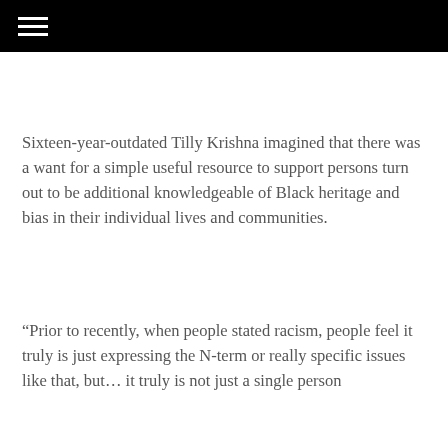≡
Sixteen-year-outdated Tilly Krishna imagined that there was a want for a simple useful resource to support persons turn out to be additional knowledgeable of Black heritage and bias in their individual lives and communities.
“Prior to recently, when people stated racism, people feel it truly is just expressing the N-term or really specific issues like that, but… it truly is not just a single person